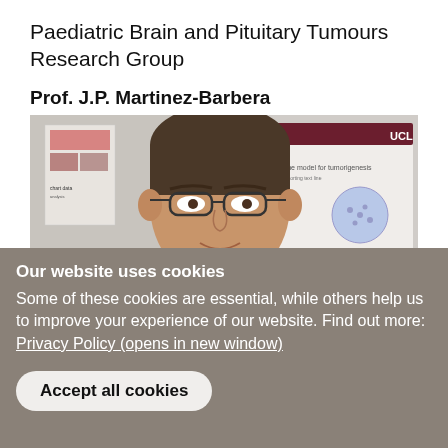Paediatric Brain and Pituitary Tumours Research Group
Prof. J.P. Martinez-Barbera
[Figure (photo): A man wearing glasses in a laboratory setting with a UCL screen showing research slides in the background. A semi-transparent button labeled 'Cookie settings' overlays the lower portion of the photo.]
Our website uses cookies
Some of these cookies are essential, while others help us to improve your experience of our website. Find out more: Privacy Policy (opens in new window)
Accept all cookies